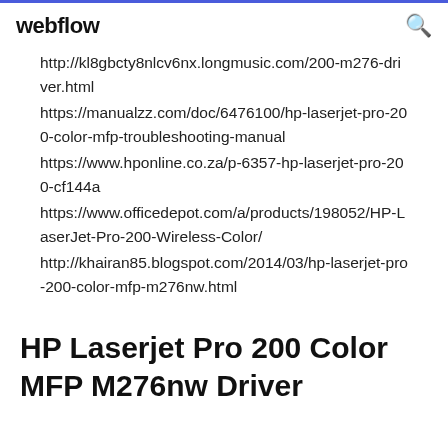webflow
http://kl8gbcty8nlcv6nx.longmusic.com/200-m276-driver.html
https://manualzz.com/doc/6476100/hp-laserjet-pro-200-color-mfp-troubleshooting-manual
https://www.hponline.co.za/p-6357-hp-laserjet-pro-200-cf144a
https://www.officedepot.com/a/products/198052/HP-LaserJet-Pro-200-Wireless-Color/
http://khairan85.blogspot.com/2014/03/hp-laserjet-pro-200-color-mfp-m276nw.html
HP Laserjet Pro 200 Color MFP M276nw Driver